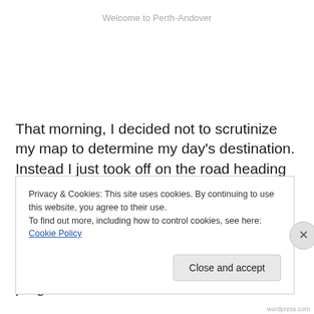Welcome to Perth-Andover
That morning, I decided not to scrutinize my map to determine my day’s destination. Instead I just took off on the road heading South. It was fun. Just biking along not knowing where you were going to end up. As long as I was headed East to Newfoundland, then no worries. Eventually by the afternoon I checked to see my progress. Perth-
Privacy & Cookies: This site uses cookies. By continuing to use this website, you agree to their use.
To find out more, including how to control cookies, see here: Cookie Policy
Close and accept